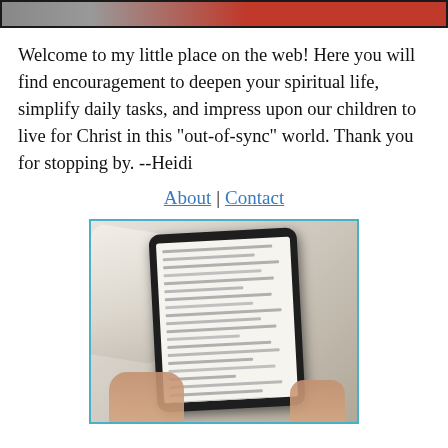[Figure (photo): Cropped top portion of a header image showing red color element, partially visible, within a bordered frame]
Welcome to my little place on the web! Here you will find encouragement to deepen your spiritual life, simplify daily tasks, and impress upon our children to live for Christ in this "out-of-sync" world. Thank you for stopping by. --Heidi
About | Contact
[Figure (photo): A person holding a tablet/e-reader device, reading, with a soft background, framed with a teal/blue border]